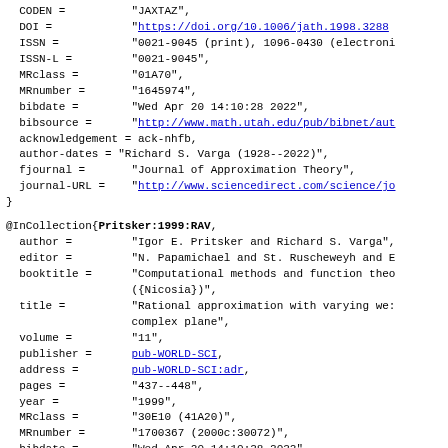CODEN = "JAXTAZ",
  DOI = "https://doi.org/10.1006/jath.1998.3288",
  ISSN = "0021-9045 (print), 1096-0430 (electronic)",
  ISSN-L = "0021-9045",
  MRclass = "01A70",
  MRnumber = "1645974",
  bibdate = "Wed Apr 20 14:10:28 2022",
  bibsource = "http://www.math.utah.edu/pub/bibnet/au",
  acknowledgement = ack-nhfb,
  author-dates = "Richard S. Varga (1928--2022)",
  fjournal = "Journal of Approximation Theory",
  journal-URL = "http://www.sciencedirect.com/science/jo",
}
@InCollection{Pritsker:1999:RAV,
  author = "Igor E. Pritsker and Richard S. Varga",
  editor = "N. Papamichael and St. Ruscheweyh and E",
  booktitle = "Computational methods and function theo ({Nicosia})",
  title = "Rational approximation with varying we complex plane",
  volume = "11",
  publisher = pub-WORLD-SCI,
  address = pub-WORLD-SCI:adr,
  pages = "437--448",
  year = "1999",
  MRclass = "30E10 (41A20)",
  MRnumber = "1700367 (2000c:30072)",
  bibdate = "Wed Apr 20 14:10:28 2022",
  bibsource = "http://www.math.utah.edu/pub/bibnet/au"